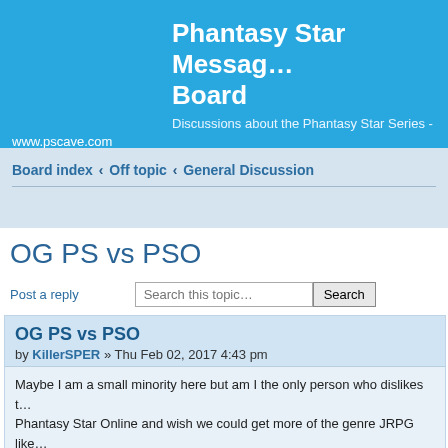Phantasy Star Cave Message Board
Discussions about the Phantasy Star Series - www.pscave.com
Board index ‹ Off topic ‹ General Discussion
OG PS vs PSO
Post a reply
OG PS vs PSO
by KillerSPER » Thu Feb 02, 2017 4:43 pm
Maybe I am a small minority here but am I the only person who dislikes the Phantasy Star Online and wish we could get more of the genre JRPG like with 1-4?
The One & Only